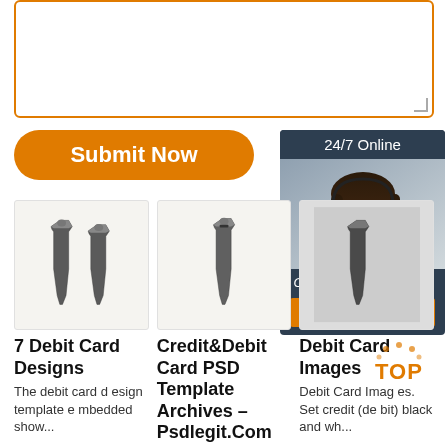[Figure (screenshot): Textarea input box with orange border]
Submit Now
[Figure (infographic): 24/7 Online chat support banner with agent photo, 'Click here for free chat!' text and QUOTATION button]
[Figure (photo): Two metal debit card chip holders/clips on white background]
7 Debit Card Designs
The debit card d esign template e mbedded show...
[Figure (photo): Single metal debit card chip holder/clip on white background]
Credit&Debit Card PSD Template Archives – Psdlegit.Com
[Figure (photo): Partial third card image]
Debit Card Images
Debit Card Imag es. Set credit (de bit) black and wh...